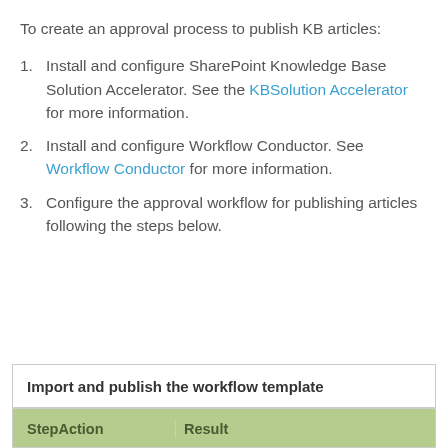To create an approval process to publish KB articles:
Install and configure SharePoint Knowledge Base Solution Accelerator. See the KBSolution Accelerator for more information.
Install and configure Workflow Conductor. See Workflow Conductor for more information.
Configure the approval workflow for publishing articles following the steps below.
| Step | Action | Result |
| --- | --- | --- |